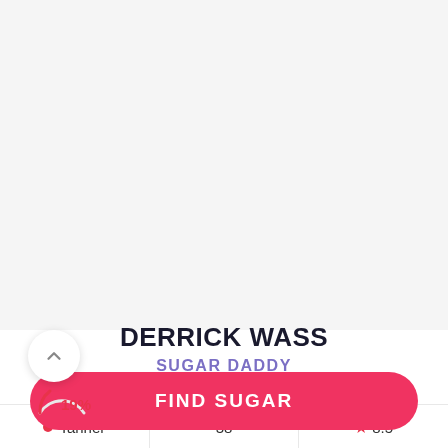[Figure (photo): Profile photo area (white/light grey background, top portion of app screen)]
DERRICK WASS
SUGAR DADDY
Tanner  38  ★ 8.5
19%
FIND SUGAR